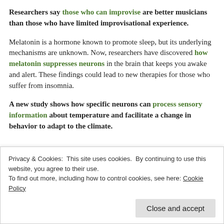Researchers say those who can improvise are better musicians than those who have limited improvisational experience.
Melatonin is a hormone known to promote sleep, but its underlying mechanisms are unknown. Now, researchers have discovered how melatonin suppresses neurons in the brain that keeps you awake and alert. These findings could lead to new therapies for those who suffer from insomnia.
A new study shows how specific neurons can process sensory information about temperature and facilitate a change in behavior to adapt to the climate.
Privacy & Cookies: This site uses cookies. By continuing to use this website, you agree to their use. To find out more, including how to control cookies, see here: Cookie Policy
begins, and an electrical current can be used to stop it in its